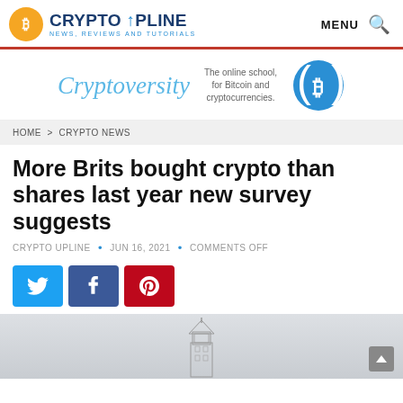CRYPTO UPLINE NEWS, REVIEWS AND TUTORIALS | MENU
[Figure (logo): Crypto Upline logo with orange Bitcoin symbol circle and blue text 'CRYPTO UPLINE NEWS, REVIEWS AND TUTORIALS']
[Figure (illustration): Cryptoversity advertisement banner with blue Bitcoin coin logo and tagline 'The online school, for Bitcoin and cryptocurrencies.']
HOME > CRYPTO NEWS
More Brits bought crypto than shares last year new survey suggests
CRYPTO UPLINE • JUN 16, 2021 • COMMENTS OFF
[Figure (infographic): Social share buttons: Twitter (blue), Facebook (dark blue), Pinterest (red)]
[Figure (photo): Partial image showing a misty sketch of Big Ben/Parliament tower in London]